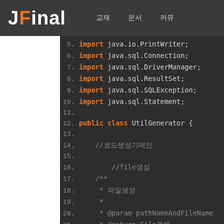JFinal  교재  문서  커뮤
[Figure (screenshot): Java source code editor screenshot showing lines 5-23 of UtilGenerator class with import statements and class declaration]
5. import java.io.PrintWriter;
6. import java.sql.Connection;
7. import java.sql.DriverManager;
8. import java.sql.ResultSet;
9. import java.sql.SQLException;
10. import java.sql.Statement;
11.
12. public class UtilGenerator {
13.
14.     //코드생성기메인
15.
16.         //file생성
17.     /**
18.      * 파일생성
19.      *
20.      * @param pathNameAndFileName
21.      * * @return File객체
22.      */
23.         public static File createF
e) {